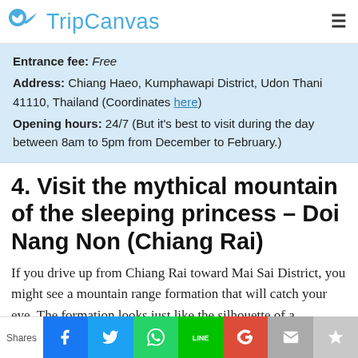TripCanvas
Entrance fee: Free
Address: Chiang Haeo, Kumphawapi District, Udon Thani 41110, Thailand (Coordinates here)
Opening hours: 24/7 (But it's best to visit during the day between 8am to 5pm from December to February.)
4. Visit the mythical mountain of the sleeping princess – Doi Nang Non (Chiang Rai)
If you drive up from Chiang Rai toward Mai Sai District, you might see a mountain range formation that will catch your eye. The formation looks just like the silhouette of a
Shares | Facebook | Twitter | WhatsApp | LINE | Google+ | Email | Crown